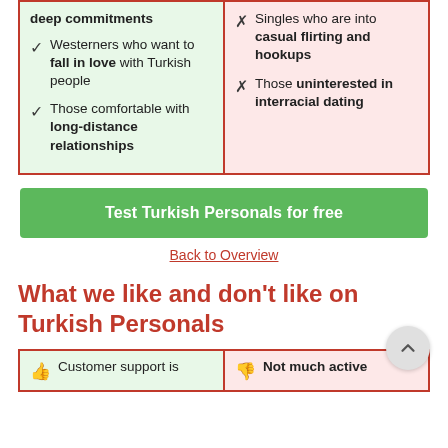✓ Westerners who want to fall in love with Turkish people
✓ Those comfortable with long-distance relationships
✗ Singles who are into casual flirting and hookups
✗ Those uninterested in interracial dating
Test Turkish Personals for free
Back to Overview
What we like and don't like on Turkish Personals
👍 Customer support is
👎 Not much active